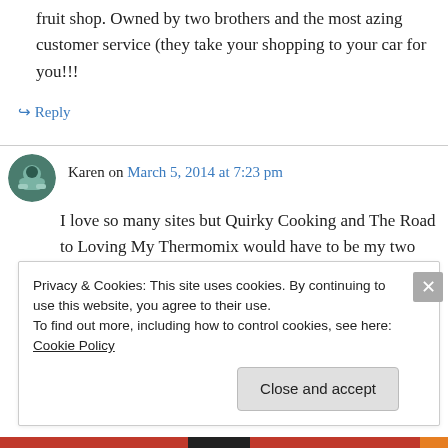fruit shop. Owned by two brothers and the most azing customer service (they take your shopping to your car for you!!!
↪ Reply
Karen on March 5, 2014 at 7:23 pm
I love so many sites but Quirky Cooking and The Road to Loving My Thermomix would have to be my two faves.
Privacy & Cookies: This site uses cookies. By continuing to use this website, you agree to their use.
To find out more, including how to control cookies, see here: Cookie Policy
Close and accept